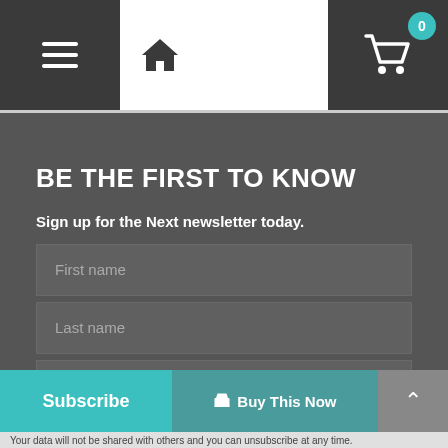Navigation header with hamburger menu, home icon, and shopping cart (0 items)
BE THE FIRST TO KNOW
Sign up for the Next newsletter today.
First name
Last name
Email
Phone
Select Product Options
Subscribe
Buy This Now
Your data will not be shared with others and you can unsubscribe at any time.